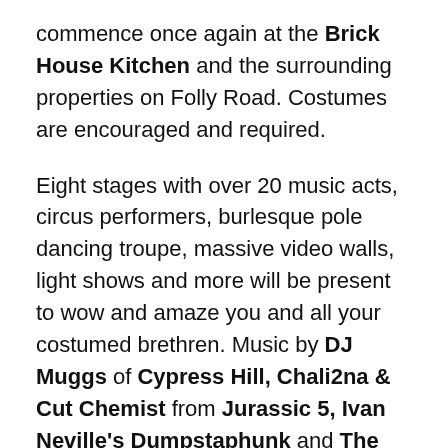commence once again at the Brick House Kitchen and the surrounding properties on Folly Road. Costumes are encouraged and required.
Eight stages with over 20 music acts, circus performers, burlesque pole dancing troupe, massive video walls, light shows and more will be present to wow and amaze you and all your costumed brethren. Music by DJ Muggs of Cypress Hill, Chali2na & Cut Chemist from Jurassic 5, Ivan Neville's Dumpstaphunk and The Dubplates featuring Future Fambo and Zumjay, DJ Logic, ShoNuff, The Royal Tinfoil, Cousin Dan, Holy City Holligans and many other acts will perform throughout the wooded fairyland of madness.
Going on it's twelfth year, Skinful Halloween will benefit non-profit organizations Keepers of The Wild wildlife